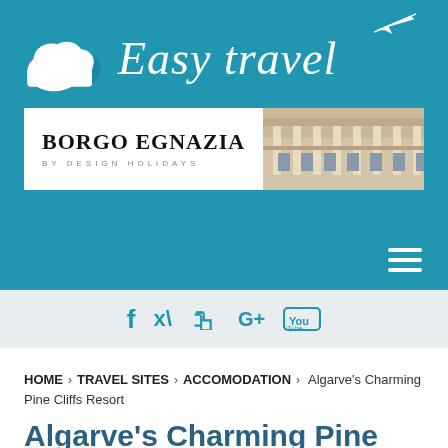[Figure (logo): Easy Travel website logo with cloud icon and cursive 'Easy travel' text with airplane silhouette on teal background]
[Figure (photo): Borgo Egnazia by Design Holidays banner advertisement showing white text on left and a photo of a white Mediterranean-style building on right]
[Figure (infographic): Social media icons bar: Facebook, Twitter, Google+, YouTube on light blue background]
HOME > TRAVEL SITES > ACCOMODATION > Algarve's Charming Pine Cliffs Resort
Algarve's Charming Pine Cliffs Resort
September 20, 2016   webdev